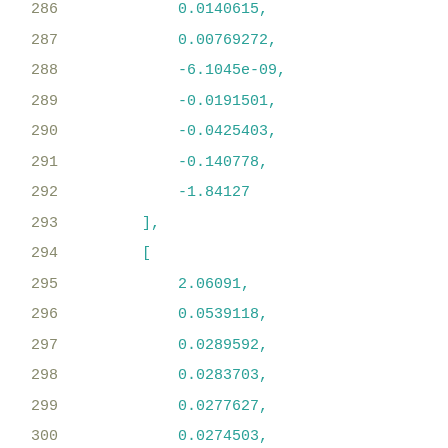286    0.0140615,
287    0.00769272,
288    -6.1045e-09,
289    -0.0191501,
290    -0.0425403,
291    -0.140778,
292    -1.84127
293    ],
294    [
295    2.06091,
296    0.0539118,
297    0.0289592,
298    0.0283703,
299    0.0277627,
300    0.0274503,
301    0.027131,
302    0.0268038,
303    0.0264673,
304    0.02612,
305    0.0257598,
306    0.025384,